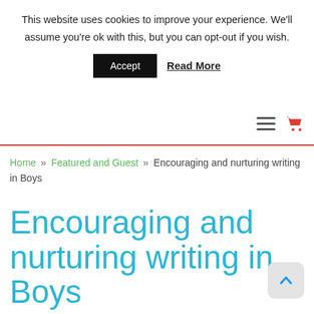This website uses cookies to improve your experience. We'll assume you're ok with this, but you can opt-out if you wish.
Accept  Read More
Home » Featured and Guest » Encouraging and nurturing writing in Boys
Encouraging and nurturing writing in Boys